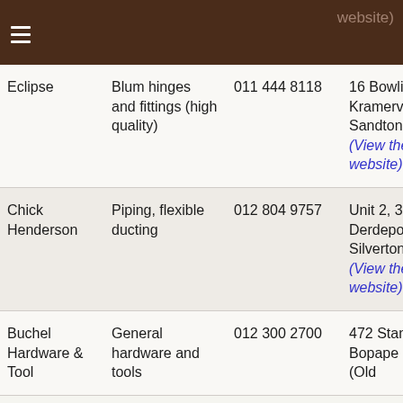website)
| Name | Products | Phone | Address |
| --- | --- | --- | --- |
| Eclipse | Blum hinges and fittings (high quality) | 011 444 8118 | 16 Bowling Ave, Kramerville, Sandton (View their website) |
| Chick Henderson | Piping, flexible ducting | 012 804 9757 | Unit 2, 354 Derdepoort Rd, Silverton (View their website) |
| Buchel Hardware & Tool | General hardware and tools | 012 300 2700 | 472 Stanza Bopape Street (Old |